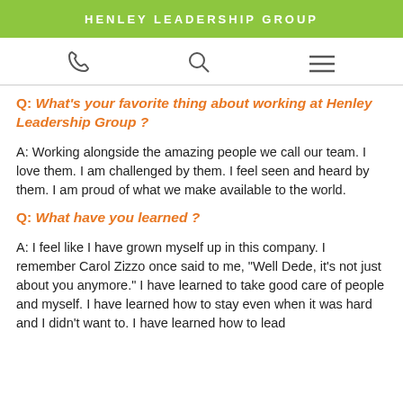HENLEY LEADERSHIP GROUP
[Figure (other): Navigation icon bar with phone, search, and hamburger menu icons]
Q: What's your favorite thing about working at Henley Leadership Group?
A: Working alongside the amazing people we call our team. I love them. I am challenged by them. I feel seen and heard by them. I am proud of what we make available to the world.
Q: What have you learned?
A: I feel like I have grown myself up in this company. I remember Carol Zizzo once said to me, "Well Dede, it's not just about you anymore." I have learned to take good care of people and myself. I have learned how to stay even when it was hard and I didn't want to. I have learned how to lead